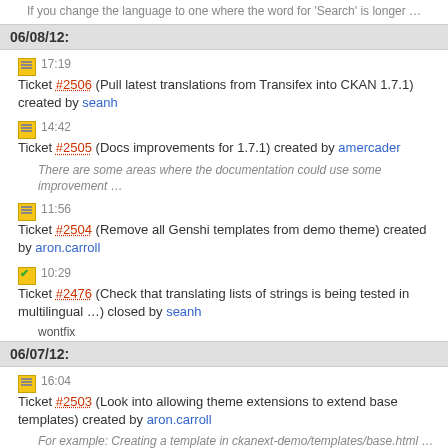If you change the language to one where the word for 'Search' is longer ...
06/08/12:
17:19 Ticket #2506 (Pull latest translations from Transifex into CKAN 1.7.1) created by seanh
14:42 Ticket #2505 (Docs improvements for 1.7.1) created by amercader
There are some areas where the documentation could use some improvement ...
11:56 Ticket #2504 (Remove all Genshi templates from demo theme) created by aron.carroll
10:29 Ticket #2476 (Check that translating lists of strings is being tested in multilingual ...) closed by seanh
wontfix
06/07/12:
16:04 Ticket #2503 (Look into allowing theme extensions to extend base templates) created by aron.carroll
For example: Creating a template in ckanext-demo/templates/base.html ...
16:02 Ticket #2502 (Create Jinja block for common helpers) created by aron.carroll
Most important is {% snippet %} but {% url_for %} would be great too.